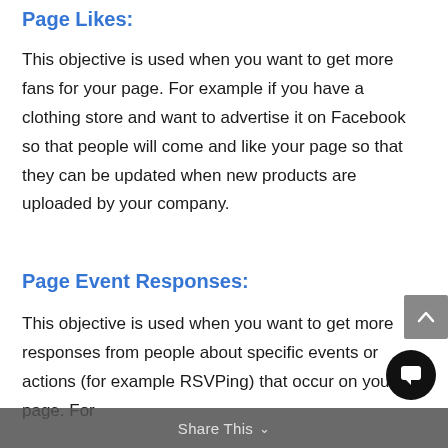Page Likes:
This objective is used when you want to get more fans for your page. For example if you have a clothing store and want to advertise it on Facebook so that people will come and like your page so that they can be updated when new products are uploaded by your company.
Page Event Responses:
This objective is used when you want to get more responses from people about specific events or actions (for example RSVPing) that occur on your page. For